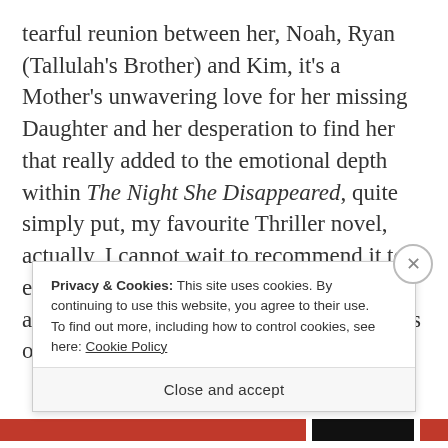tearful reunion between her, Noah, Ryan (Tallulah's Brother) and Kim, it's a Mother's unwavering love for her missing Daughter and her desperation to find her that really added to the emotional depth within The Night She Disappeared, quite simply put, my favourite Thriller novel, actually, I cannot wait to recommend it to everyone, it's a complete must read and I absolutely cannot wait to read Lisa Jewell's other books!!
Privacy & Cookies: This site uses cookies. By continuing to use this website, you agree to their use.
To find out more, including how to control cookies, see here: Cookie Policy
Close and accept